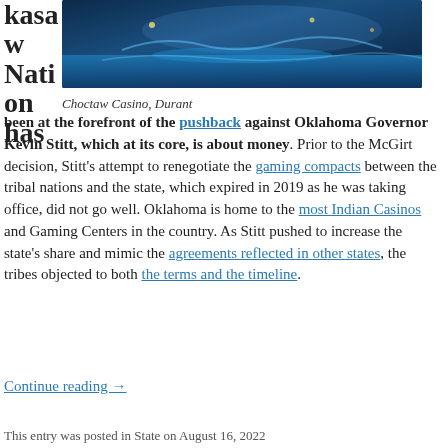kasaw Nation has been at the forefront of the pushback against Oklahoma Governor Kevin Stitt, which at its core, is about money. Prior to the McGirt decision, Stitt's attempt to renegotiate the gaming compacts between the tribal nations and the state, which expired in 2019 as he was taking office, did not go well. Oklahoma is home to the most Indian Casinos and Gaming Centers in the country. As Stitt pushed to increase the state's share and mimic the agreements reflected in other states, the tribes objected to both the terms and the timeline.
[Figure (photo): Aerial/nighttime photo of Choctaw Casino, Durant showing illuminated pool and resort area with blue lighting]
Choctaw Casino, Durant
Continue reading →
This entry was posted in State on August 16, 2022